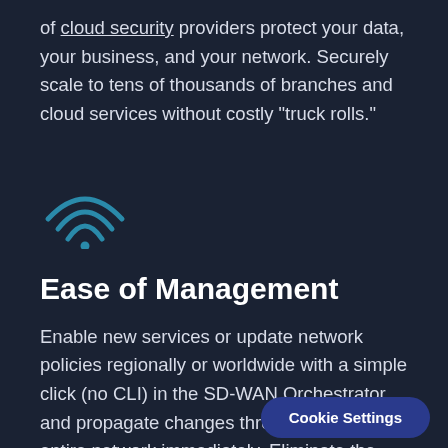of cloud security providers protect your data, your business, and your network. Securely scale to tens of thousands of branches and cloud services without costly "truck rolls."
[Figure (illustration): WiFi signal icon with three curved arcs and a dot at the bottom, rendered in teal/blue color on dark background]
Ease of Management
Enable new services or update network policies regionally or worldwide with a simple click (no CLI) in the SD-WAN Orchestrator and propagate changes throughout the entire network immediately. Eliminate the need to configure or manage each i